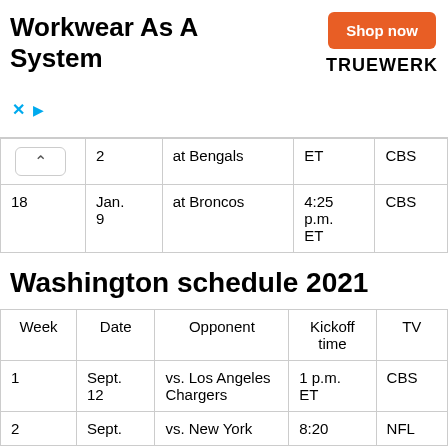[Figure (other): Advertisement banner: 'Workwear As A System' with orange 'Shop now' button and TRUEWERK logo]
| Week | Date | Opponent | Kickoff time | TV |
| --- | --- | --- | --- | --- |
|  | 2 | at Bengals | ET | CBS |
| 18 | Jan. 9 | at Broncos | 4:25 p.m. ET | CBS |
Washington schedule 2021
| Week | Date | Opponent | Kickoff time | TV |
| --- | --- | --- | --- | --- |
| 1 | Sept. 12 | vs. Los Angeles Chargers | 1 p.m. ET | CBS |
| 2 | Sept. | vs. New York | 8:20 | NFL |